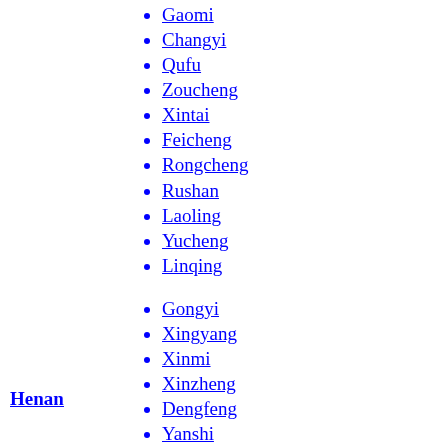Gaomi
Changyi
Qufu
Zoucheng
Xintai
Feicheng
Rongcheng
Rushan
Laoling
Yucheng
Linqing
Gongyi
Xingyang
Xinmi
Xinzheng
Dengfeng
Yanshi
Wugang
Ruzhou
Linzhou
Weihui
Huixian
Qinyang
Mengzhou
Henan